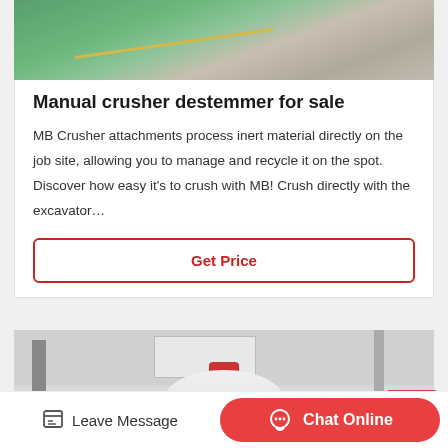[Figure (photo): Aerial or close-up view of green and grey industrial/mining surface with a yellow diagonal line]
Manual crusher destemmer for sale
MB Crusher attachments process inert material directly on the job site, allowing you to manage and recycle it on the spot. Discover how easy it's to crush with MB! Crush directly with the excavator…
Get Price
[Figure (photo): Industrial factory interior showing large white cone crusher machinery with red top and support columns]
Leave Message
Chat Online